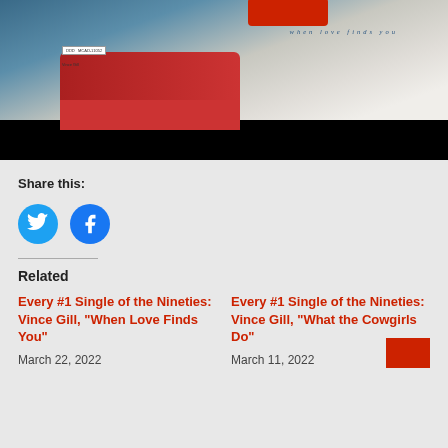[Figure (photo): Album cover image for Vince Gill 'When Love Finds You' showing a person sitting on a red car, with dark blue background and black bar at bottom]
Share this:
[Figure (other): Twitter and Facebook share buttons as circular blue icons]
Related
Every #1 Single of the Nineties: Vince Gill, “When Love Finds You”
March 22, 2022
Every #1 Single of the Nineties: Vince Gill, “What the Cowgirls Do”
March 11, 2022